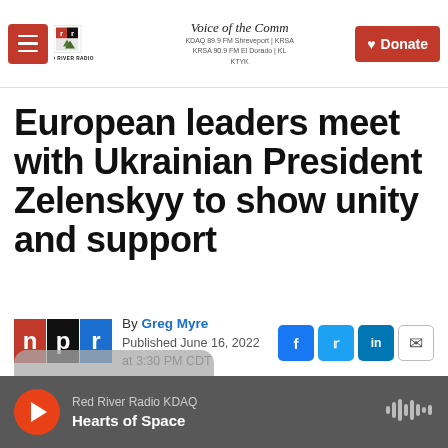Red River Radio — Voice of the Community — KDAQ 89.9 FM Shreveport | KRSA 90.9 FM El Dorado | KTYK — Donate
European leaders meet with Ukrainian President Zelenskyy to show unity and support
By Greg Myre
Published June 16, 2022 at 3:30 PM CDT
Red River Radio KDAQ — Hearts of Space